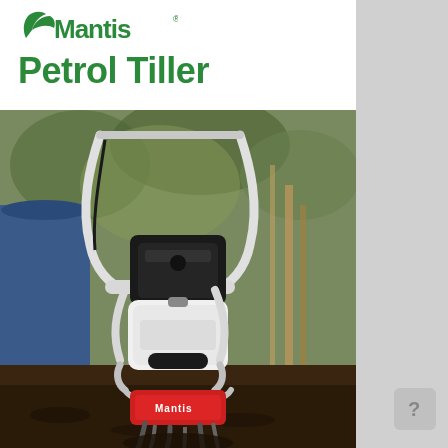[Figure (logo): Mantis brand logo in green with stylized M and leaf motif]
Petrol Tiller
[Figure (photo): Close-up photo of a person operating a Mantis petrol tiller in garden soil. The tiller has white handles, a white fuel tank, black engine, and red tines digging into dark soil. Trees visible in background.]